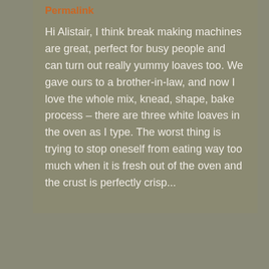Permalink
Hi Alistair, I think break making machines are great, perfect for busy people and can turn out really yummy loaves too. We gave ours to a brother-in-law, and now I love the whole mix, knead, shape, bake process – there are three white loaves in the oven as I type. The worst thing is trying to stop oneself from eating way too much when it is fresh out of the oven and the crust is perfectly crisp...
[Figure (photo): Circular avatar image of a purple flower (rose/hellebore) on a light background]
Christina